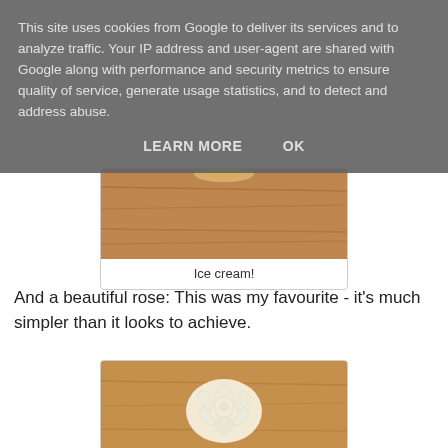This site uses cookies from Google to deliver its services and to analyze traffic. Your IP address and user-agent are shared with Google along with performance and security metrics to ensure quality of service, generate usage statistics, and to detect and address abuse.
LEARN MORE    OK
[Figure (photo): Close-up photo of ice cream on a wooden surface, partially visible]
Ice cream!
And a beautiful rose: This was my favourite - it's much simpler than it looks to achieve.
[Figure (photo): Photo of a cream/white rose made from butter or cream, placed on a wooden surface]